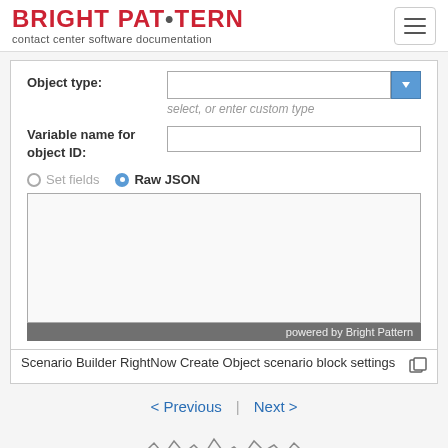BRIGHT PATTERN contact center software documentation
[Figure (screenshot): Form UI showing Object type field with dropdown, hint text 'select, or enter custom type', Variable name for object ID field, Set fields / Raw JSON radio buttons with Raw JSON selected, and a large empty textarea input area with 'powered by Bright Pattern' watermark bar at bottom.]
Scenario Builder RightNow Create Object scenario block settings
< Previous | Next >